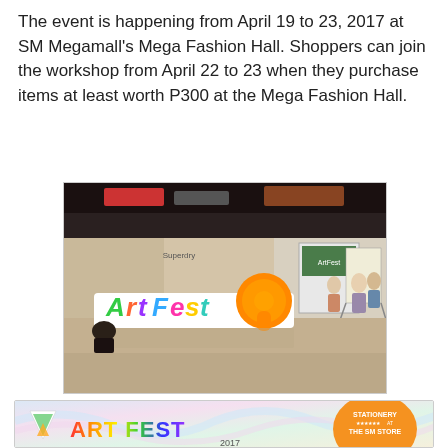The event is happening from April 19 to 23, 2017 at SM Megamall's Mega Fashion Hall. Shoppers can join the workshop from April 22 to 23 when they purchase items at least worth P300 at the Mega Fashion Hall.
[Figure (photo): Photo of an ArtFest event sign installation inside SM Megamall's Mega Fashion Hall, showing colorful 3D letters spelling 'ArtFest' with an orange comma/quotation mark shape, surrounded by shoppers and mall stores in the background.]
[Figure (photo): Promotional banner for ArtFest 2017 at Stationery at The SM Store, showing colorful rainbow-colored letters spelling 'ART FEST' on a pastel swirled background, with '2017' below and an orange circular badge reading 'Stationery at The SM Store' on the right.]